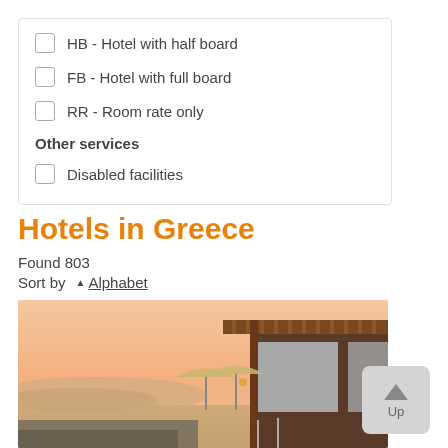HB - Hotel with half board
FB - Hotel with full board
RR - Room rate only
Other services
Disabled facilities
Hotels in Greece
Found 803
Sort by   ▲ Alphabet
[Figure (photo): Photo of a hotel building with wooden pergola/overhang, glass walls, an umbrella/parasol, and a warm peachy-pink sunset sky over water and hills in the background.]